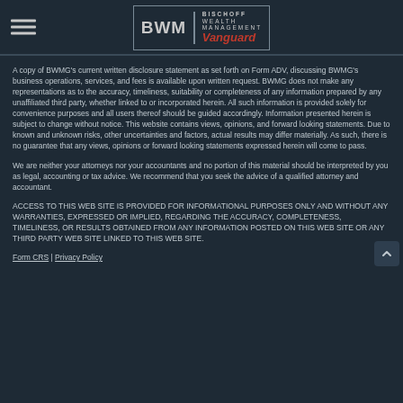BWM | BISCHOFF WEALTH MANAGEMENT Vanguard
A copy of BWMG's current written disclosure statement as set forth on Form ADV, discussing BWMG's business operations, services, and fees is available upon written request. BWMG does not make any representations as to the accuracy, timeliness, suitability or completeness of any information prepared by any unaffiliated third party, whether linked to or incorporated herein. All such information is provided solely for convenience purposes and all users thereof should be guided accordingly. Information presented herein is subject to change without notice. This website contains views, opinions, and forward looking statements. Due to known and unknown risks, other uncertainties and factors, actual results may differ materially. As such, there is no guarantee that any views, opinions or forward looking statements expressed herein will come to pass.
We are neither your attorneys nor your accountants and no portion of this material should be interpreted by you as legal, accounting or tax advice. We recommend that you seek the advice of a qualified attorney and accountant.
ACCESS TO THIS WEB SITE IS PROVIDED FOR INFORMATIONAL PURPOSES ONLY AND WITHOUT ANY WARRANTIES, EXPRESSED OR IMPLIED, REGARDING THE ACCURACY, COMPLETENESS, TIMELINESS, OR RESULTS OBTAINED FROM ANY INFORMATION POSTED ON THIS WEB SITE OR ANY THIRD PARTY WEB SITE LINKED TO THIS WEB SITE.
Form CRS | Privacy Policy